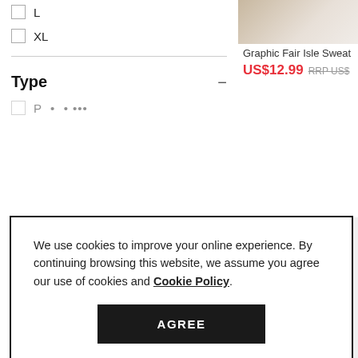L
XL
Type
[Figure (screenshot): Partial product image of a sweater on the right side panel]
Graphic Fair Isle Sweat
US$12.99  RRP US$
[Figure (screenshot): Gray placeholder rectangle for second product image]
T
T
ce wom
so man
We use cookies to improve your online experience. By continuing browsing this website, we assume you agree our use of cookies and Cookie Policy.
AGREE